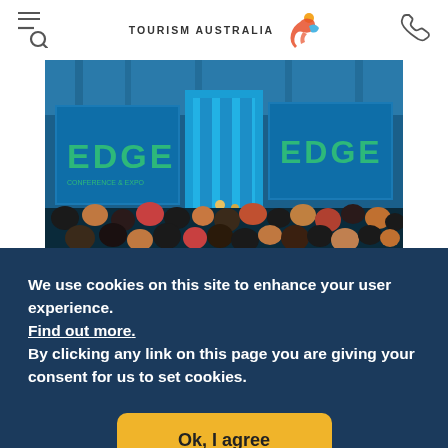Tourism Australia — navigation header with search/menu icon, logo, and phone icon
[Figure (photo): Conference ballroom scene showing audience from behind, large screens displaying 'EDGE' branding in green text, blue stage lighting with curtains, crowded event setting]
We use cookies on this site to enhance your user experience. Find out more. By clicking any link on this page you are giving your consent for us to set cookies.
Ok, I agree